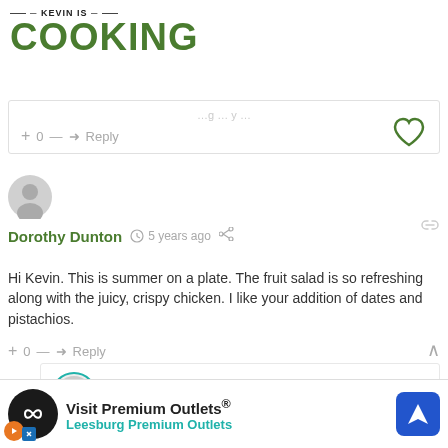KEVIN IS COOKING
+ 0 — Reply
Dorothy Dunton  5 years ago
Hi Kevin. This is summer on a plate. The fruit salad is so refreshing along with the juicy, crispy chicken. I like your addition of dates and pistachios.
+ 0 — Reply
Kevin Is Cooking  5 years ago
Reply to Dorothy Dunton
[Figure (screenshot): Advertisement banner: Visit Premium Outlets® Leesburg Premium Outlets]